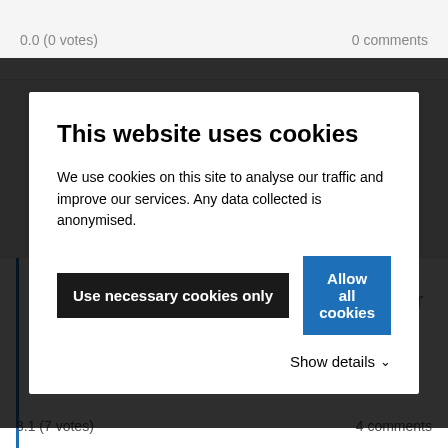0.0 (0 votes)
0 comments
[Figure (screenshot): Cookie consent dialog overlay on a government website. Title: 'This website uses cookies'. Body text: 'We use cookies on this site to analyse our traffic and improve our services. Any data collected is anonymised.' Two buttons: 'Use necessary cookies only' (dark/black) and 'Allow all cookies' (blue). Below buttons: 'Show details' with a chevron.]
Restart schools end July - a month earlier -
3.1 (7 votes)
4 comments